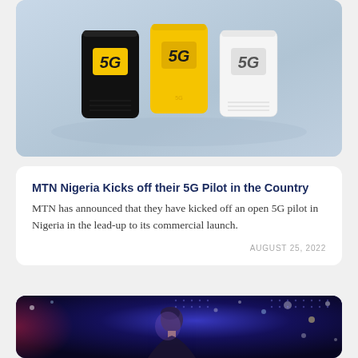[Figure (photo): Three 5G router/modem devices in black, yellow/orange, and white colors, displayed on a light blue surface. Each device has '5G' text on the front.]
MTN Nigeria Kicks off their 5G Pilot in the Country
MTN has announced that they have kicked off an open 5G pilot in Nigeria in the lead-up to its commercial launch.
AUGUST 25, 2022
[Figure (photo): A woman standing in a dark environment filled with blue bokeh lights and colorful illumination, looking upward with a festive/concert atmosphere.]